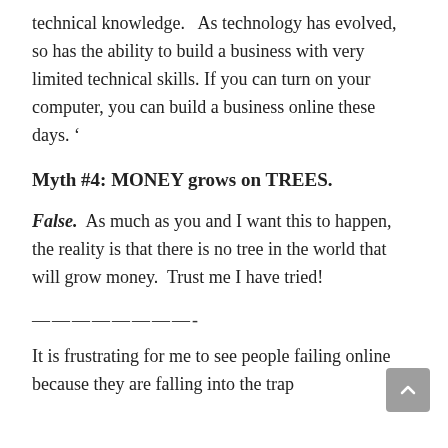technical knowledge.   As technology has evolved, so has the ability to build a business with very limited technical skills. If you can turn on your computer, you can build a business online these days. '
Myth #4: MONEY grows on TREES.
False.  As much as you and I want this to happen, the reality is that there is no tree in the world that will grow money.  Trust me I have tried!
————————-
It is frustrating for me to see people failing online because they are falling into the trap